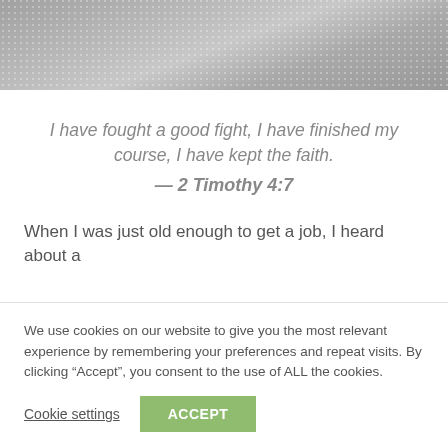[Figure (photo): Gray textured header image with dotted pattern overlay]
I have fought a good fight, I have finished my course, I have kept the faith.
— 2 Timothy 4:7
When I was just old enough to get a job, I heard about a
We use cookies on our website to give you the most relevant experience by remembering your preferences and repeat visits. By clicking “Accept”, you consent to the use of ALL the cookies.
Cookie settings   ACCEPT